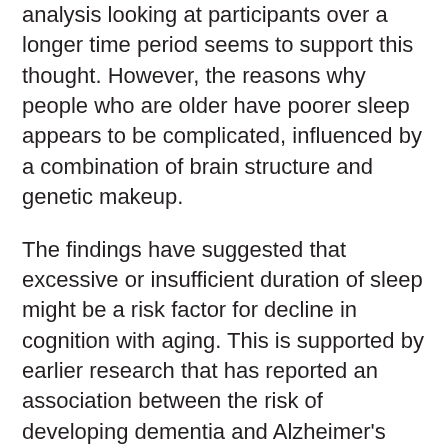analysis looking at participants over a longer time period seems to support this thought. However, the reasons why people who are older have poorer sleep appears to be complicated, influenced by a combination of brain structure and genetic makeup.
The findings have suggested that excessive or insufficient duration of sleep might be a risk factor for decline in cognition with aging. This is supported by earlier research that has reported an association between the risk of developing dementia and Alzheimer's Disease and duration of sleep in which decline in cognition is a hallmark symptom.
Getting a good night of sleep is important during all the stages of life, but is particularly important as